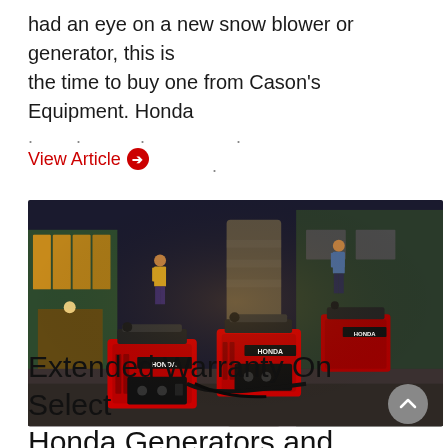had an eye on a new snow blower or generator, this is the time to buy one from Cason's Equipment. Honda · · · · · · · · · · · ·
View Article →
[Figure (photo): Two red Honda inverter generators connected together, sitting on a wet driveway outside a house at dusk, with two people standing in the background.]
Extended Warranty On Select Honda Generators and Snow